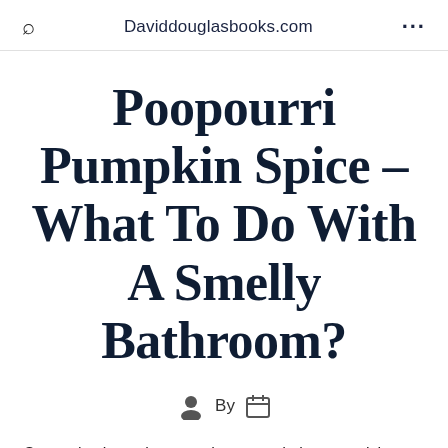Daviddouglasbooks.com
Poopourri Pumpkin Spice – What To Do With A Smelly Bathroom?
By
So, you've just taken your house and also you wish